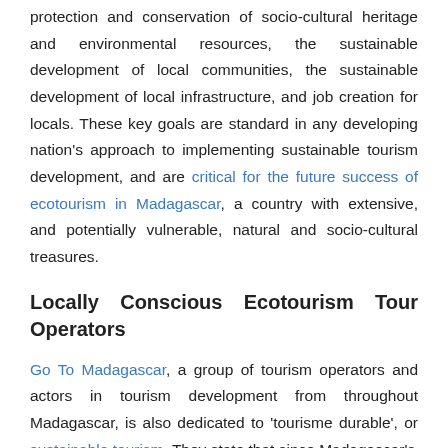protection and conservation of socio-cultural heritage and environmental resources, the sustainable development of local communities, the sustainable development of local infrastructure, and job creation for locals. These key goals are standard in any developing nation's approach to implementing sustainable tourism development, and are critical for the future success of ecotourism in Madagascar, a country with extensive, and potentially vulnerable, natural and socio-cultural treasures.
Locally Conscious Ecotourism Tour Operators
Go To Madagascar, a group of tourism operators and actors in tourism development from throughout Madagascar, is also dedicated to 'tourisme durable', or sustainable tourism. They state that since Madagascar's